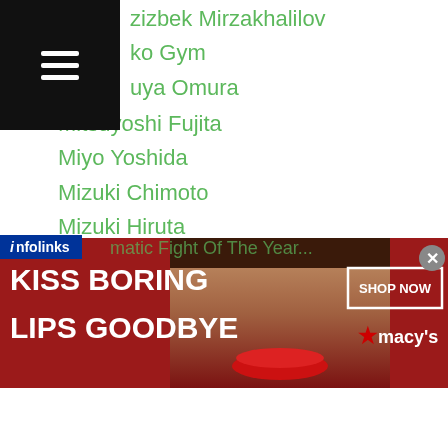zizbek Mirzakhalilov
ko Gym
uya Omura
Mitsuyoshi Fujita
Miyo Yoshida
Mizuki Chimoto
Mizuki Hiruta
MJ Bo
Momoko Kanda
Momo Koseki
Monico Laurente
Mont Blanc Miki
Moo Hyun Kim
Moon Hyon Yun
Moon Sung Choi
Morihisa Iju
[Figure (screenshot): Advertisement banner: 'KISS BORING LIPS GOODBYE' with a woman's face and Macy's Shop Now button on red background]